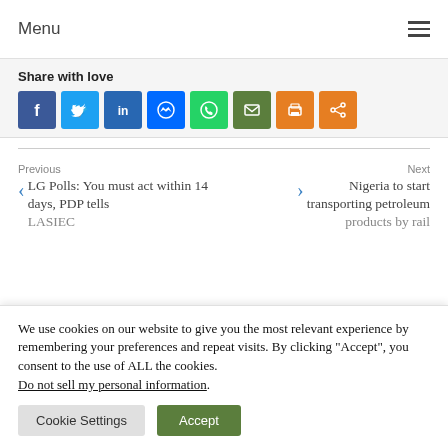Menu
Share with love
[Figure (other): Row of social share icons: Facebook, Twitter, LinkedIn, Messenger, WhatsApp, Email, Print, Share]
Previous
< LG Polls: You must act within 14 days, PDP tells LASIEC
Next
Nigeria to start transporting petroleum products by rail >
We use cookies on our website to give you the most relevant experience by remembering your preferences and repeat visits. By clicking “Accept”, you consent to the use of ALL the cookies.
Do not sell my personal information.
Cookie Settings
Accept